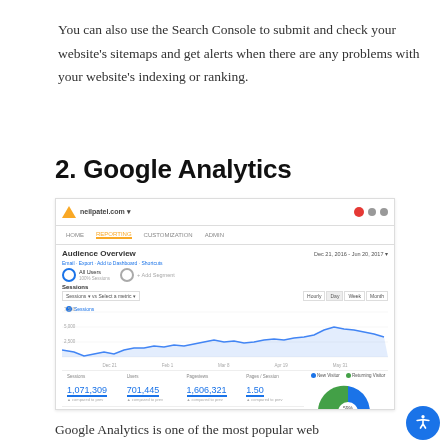You can also use the Search Console to submit and check your website's sitemaps and get alerts when there are any problems with your website's indexing or ranking.
2. Google Analytics
[Figure (screenshot): Google Analytics Audience Overview dashboard screenshot showing sessions line chart, metrics including 1,071,309 Sessions, 701,445 Users, 1,606,321 Pageviews, 1.50 Pages/Session, 00:01:35 Avg Session Duration, 74.46% Bounce Rate, 59.29% % New Sessions, and a pie chart showing New Visitor vs Returning Visitor breakdown]
Google Analytics is one of the most popular web